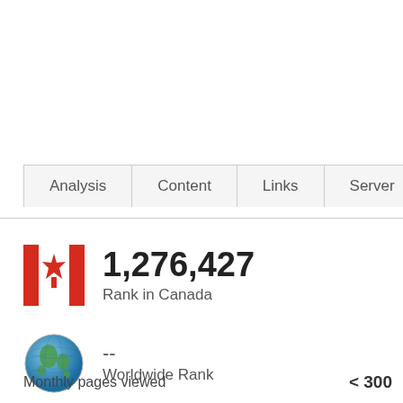[Figure (screenshot): Navigation tabs: Analysis, Content, Links, Server]
[Figure (infographic): Canadian flag icon with rank 1,276,427 in Canada]
1,276,427
Rank in Canada
[Figure (infographic): Globe icon with worldwide rank --]
--
Worldwide Rank
Monthly pages viewed   < 300